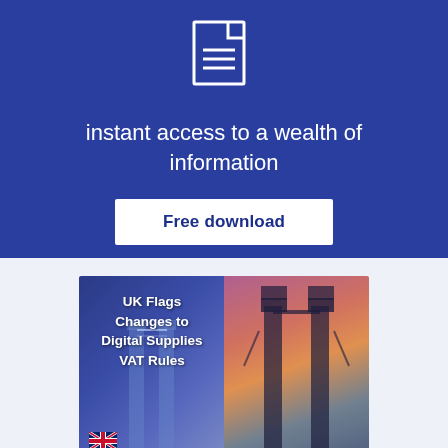[Figure (illustration): Document/file icon in white outline on blue background]
instant access to a wealth of information
Free download
[Figure (photo): Book cover showing 'UK Flags Changes to Digital Supplies VAT Rules' with Tower Bridge image on right half and blue-tinted bridge on left half]